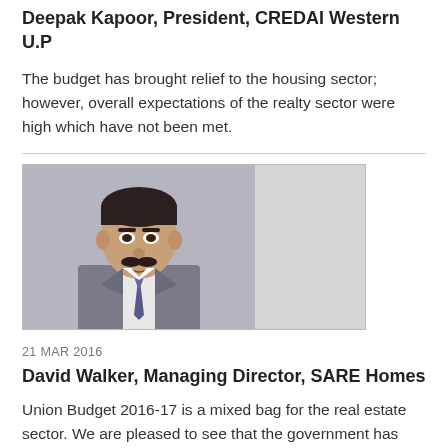Deepak Kapoor, President, CREDAI Western U.P
The budget has brought relief to the housing sector; however, overall expectations of the realty sector were high which have not been met.
[Figure (photo): Portrait photo of David Walker, Managing Director, SARE Homes — man in suit with mustache against grey background]
21 MAR 2016
David Walker, Managing Director, SARE Homes
Union Budget 2016-17 is a mixed bag for the real estate sector. We are pleased to see that the government has stuck to the 3.5 per cent fiscal target as this will give head room for the reduction in interest rates